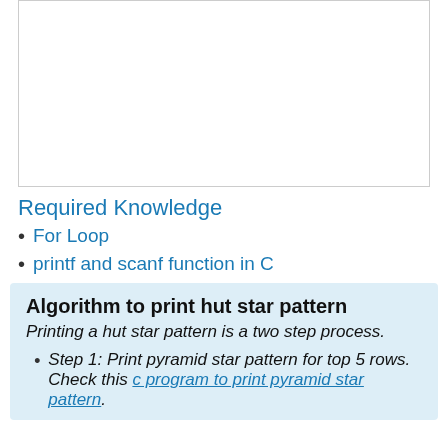[Figure (illustration): Hut star pattern made of blue stars arranged in a pyramid on top and two columns on sides at the bottom, forming a hut shape.]
Required Knowledge
For Loop
printf and scanf function in C
Algorithm to print hut star pattern
Printing a hut star pattern is a two step process.
Step 1: Print pyramid star pattern for top 5 rows. Check this c program to print pyramid star pattern.